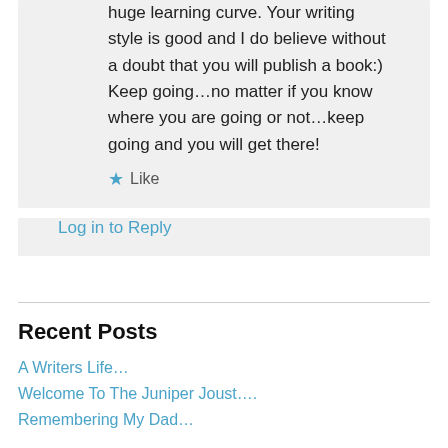huge learning curve. Your writing style is good and I do believe without a doubt that you will publish a book:) Keep going…no matter if you know where you are going or not…keep going and you will get there!
★ Like
Log in to Reply
Recent Posts
A Writers Life…
Welcome To The Juniper Joust….
Remembering My Dad…
Archives